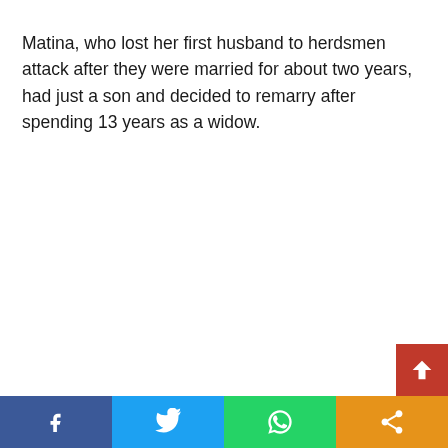Matina, who lost her first husband to herdsmen attack after they were married for about two years, had just a son and decided to remarry after spending 13 years as a widow.
[Figure (infographic): Social media share bar at bottom with Facebook, Twitter, WhatsApp, and share icons, plus a red scroll-to-top button]